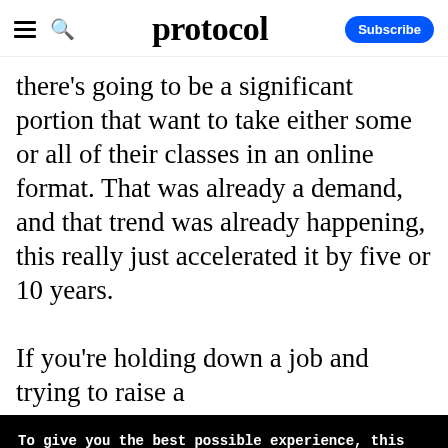protocol — Subscribe
there's going to be a significant portion that want to take either some or all of their classes in an online format. That was already a demand, and that trend was already happening, this really just accelerated it by five or 10 years.

If you're holding down a job and trying to raise a kid, the...
To give you the best possible experience, this site uses cookies. If you continue browsing. you accept our use of cookies. You can review our privacy policy to find out more about the cookies we use.
Accept